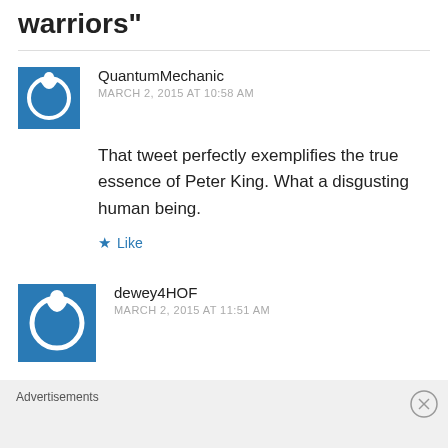warriors"
QuantumMechanic
MARCH 2, 2015 AT 10:58 AM
That tweet perfectly exemplifies the true essence of Peter King. What a disgusting human being.
Like
dewey4HOF
MARCH 2, 2015 AT 11:51 AM
Advertisements